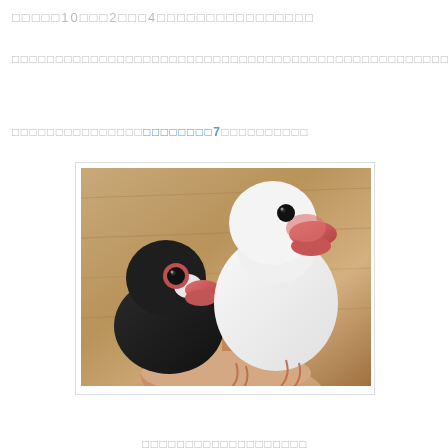□□□□□10□□□2□□□4□□□□□□□□□□□□□□□□
□□□□□□□□□□□□□□□□□□□□□□□□□□□□□□□□□□□□□□□□□□□□□□□□□□□□□□□□□□□□□□□□□□□□□□□□□□□□□□□□□□□□□□□□□□□□□□□□□□□□□□□□□□□□□□□□□□□□□□□□□□□□□□□□□□□□□□□□□□□□□□□□□□□□□
□□□□□□□□□□□□□□□□□□□□□□□□□□□□□7□□□□□□□□□□□
[Figure (photo): Two Java sparrows (Lonchura oryzivora) perched on a human hand against a wooden background. One bird is white with a red beak and eye ring. The other bird is black/dark gray with a red beak and eye ring.]
□□□□□□□□□□□□□□□□□□□